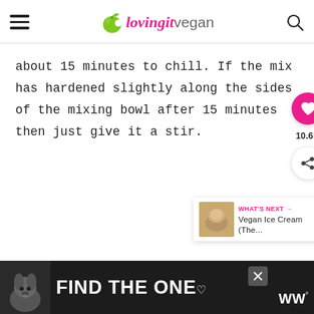lovingitvegan
about 15 minutes to chill. If the mix has hardened slightly along the sides of the mixing bowl after 15 minutes then just give it a stir.
[Figure (infographic): Pink heart favorite button with count 10.6K and share button]
[Figure (infographic): What's Next card showing Vegan Ice Cream thumbnail with text 'Vegan Ice Cream (The...']
[Figure (infographic): Advertisement banner: dog photo with text FIND THE ONE with heart icon and WW logo]